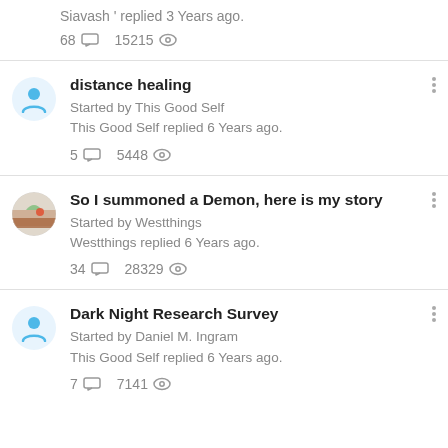Siavash ' replied 3 Years ago. 68 [comments] 15215 [views]
distance healing
Started by This Good Self
This Good Self replied 6 Years ago.
5 [comments] 5448 [views]
So I summoned a Demon, here is my story
Started by Westthings
Westthings replied 6 Years ago.
34 [comments] 28329 [views]
Dark Night Research Survey
Started by Daniel M. Ingram
This Good Self replied 6 Years ago.
7 [comments] 7141 [views]